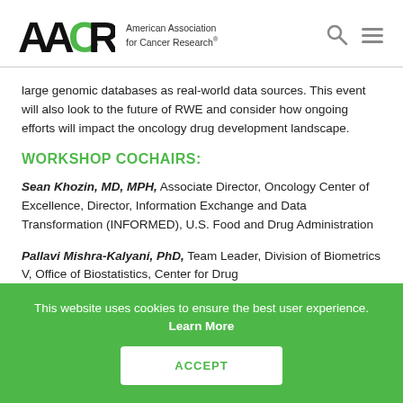AACR American Association for Cancer Research
large genomic databases as real-world data sources. This event will also look to the future of RWE and consider how ongoing efforts will impact the oncology drug development landscape.
WORKSHOP COCHAIRS:
Sean Khozin, MD, MPH, Associate Director, Oncology Center of Excellence, Director, Information Exchange and Data Transformation (INFORMED), U.S. Food and Drug Administration
Pallavi Mishra-Kalyani, PhD, Team Leader, Division of Biometrics V, Office of Biostatistics, Center for Drug
This website uses cookies to ensure the best user experience. Learn More